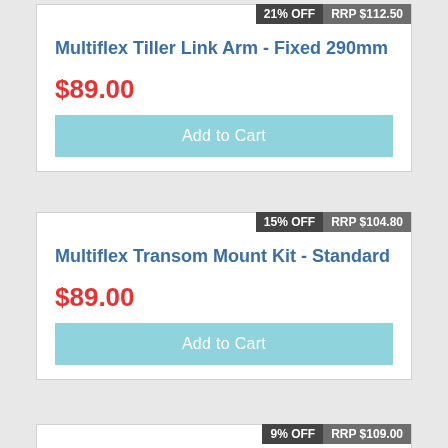Multiflex Tiller Link Arm - Fixed 290mm
21% OFF  RRP $112.50
$89.00
Add to Cart
Multiflex Transom Mount Kit - Standard
15% OFF  RRP $104.80
$89.00
Add to Cart
Multiflex Transom Mount Kit - Long
9% OFF  RRP $109.00